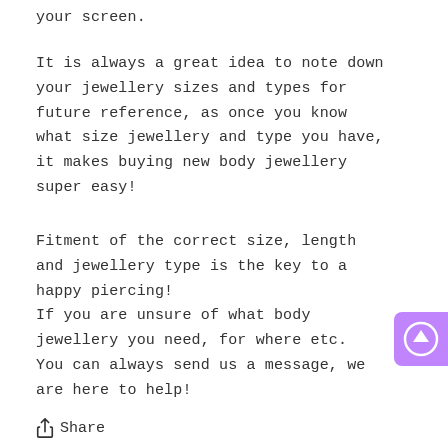your screen.
It is always a great idea to note down your jewellery sizes and types for future reference, as once you know what size jewellery and type you have, it makes buying new body jewellery super easy!
Fitment of the correct size, length and jewellery type is the key to a happy piercing!
If you are unsure of what body jewellery you need, for where etc.
You can always send us a message, we are here to help!
[Figure (other): Purple rounded square button with an upward arrow circle icon, used as a scroll-to-top button]
Share